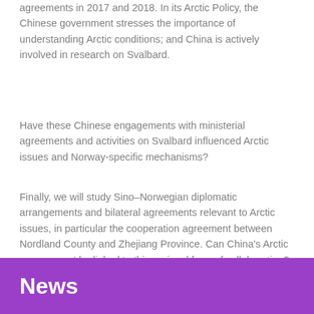agreements in 2017 and 2018. In its Arctic Policy, the Chinese government stresses the importance of understanding Arctic conditions; and China is actively involved in research on Svalbard.
Have these Chinese engagements with ministerial agreements and activities on Svalbard influenced Arctic issues and Norway-specific mechanisms?
Finally, we will study Sino–Norwegian diplomatic arrangements and bilateral agreements relevant to Arctic issues, in particular the cooperation agreement between Nordland County and Zhejiang Province. Can China's Arctic engagement be linked to this regional form of collaboration? What is the effect of such cooperation on Arctic and/or Norwegian governance mechanisms?
News